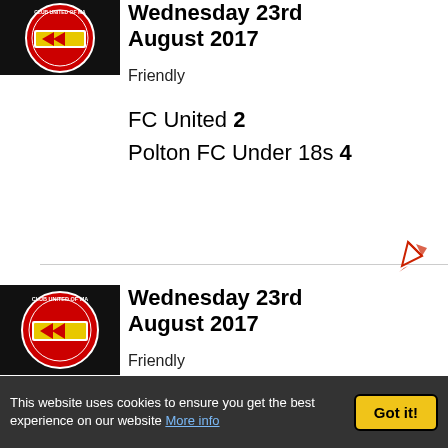[Figure (logo): FC United of Manchester club crest — circular red badge with train logo, partially cropped, on black background (top of page)]
Wednesday 23rd August 2017
Friendly
FC United 2
Polton FC Under 18s 4
[Figure (logo): FC United of Manchester club crest — circular red badge with train logo, partially cropped, on black background (second match)]
Wednesday 23rd August 2017
Friendly
FC United 2
Burnley College 0
This website uses cookies to ensure you get the best experience on our website More info  Got it!